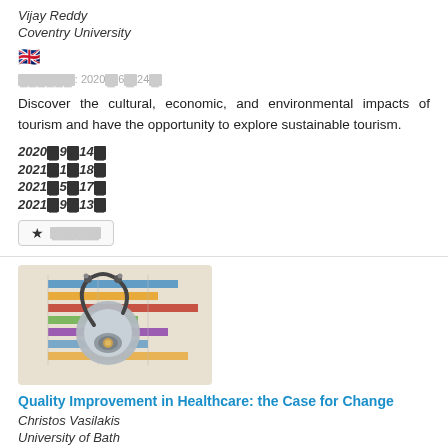Vijay Reddy
Coventry University
[Figure (illustration): UK flag emoji]
[REDACTED]: 2020[REDACTED]6[REDACTED]24[REDACTED]
Discover the cultural, economic, and environmental impacts of tourism and have the opportunity to explore sustainable tourism.
2020[REDACTED]9[REDACTED]14[REDACTED]
2021[REDACTED]1[REDACTED]18[REDACTED]
2021[REDACTED]5[REDACTED]17[REDACTED]
2021[REDACTED]9[REDACTED]13[REDACTED]
★ [REDACTED]
[Figure (photo): A stethoscope resting on colorful bar charts/graphs on paper]
Quality Improvement in Healthcare: the Case for Change
Christos Vasilakis
University of Bath
[REDACTED tag button]
[Figure (illustration): UK flag emoji]